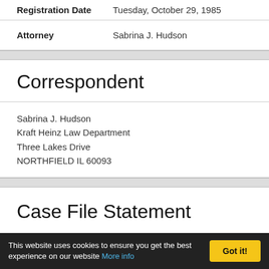| Field | Value |
| --- | --- |
| Registration Date | Tuesday, October 29, 1985 |
| Attorney | Sabrina J. Hudson |
Correspondent
Sabrina J. Hudson
Kraft Heinz Law Department
Three Lakes Drive
NORTHFIELD IL 60093
Case File Statement